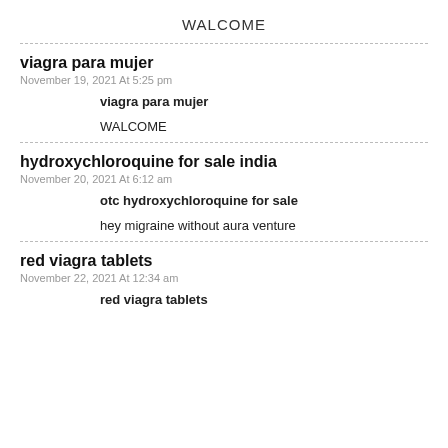WALCOME
viagra para mujer
November 19, 2021 At 5:25 pm
viagra para mujer
WALCOME
hydroxychloroquine for sale india
November 20, 2021 At 6:12 am
otc hydroxychloroquine for sale
hey migraine without aura venture
red viagra tablets
November 22, 2021 At 12:34 am
red viagra tablets